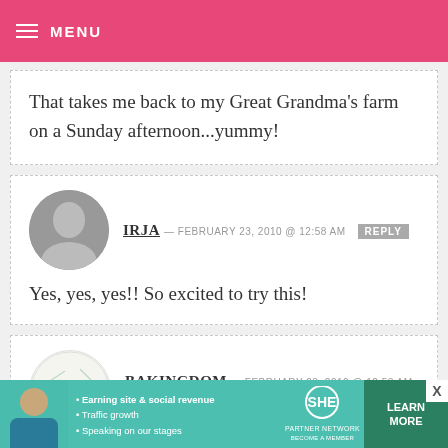MENU
That takes me back to my Great Grandma's farm on a Sunday afternoon...yummy!
IRJA — FEBRUARY 23, 2010 @ 12:58 AM  REPLY
Yes, yes, yes!! So excited to try this!
BAKINGDOM — FEBRUARY 23, 2010 @ 12:58 AM  REPLY
[Figure (infographic): SHE Partner Network advertisement banner with person, bullet points about earning site & social revenue, traffic growth, speaking on stages, SHE logo, and LEARN MORE button]